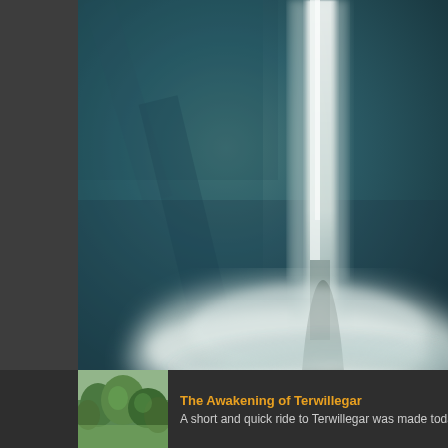[Figure (photo): A dramatic waterfall, photographed from below, showing a tall narrow white column of falling water against a dark teal/blue misty background. The waterfall appears to free-fall into a misty base.]
[Figure (photo): Small thumbnail image of a green forested park or nature area — Terwillegar park.]
The Awakening of Terwillegar
A short and quick ride to Terwillegar was made toda...